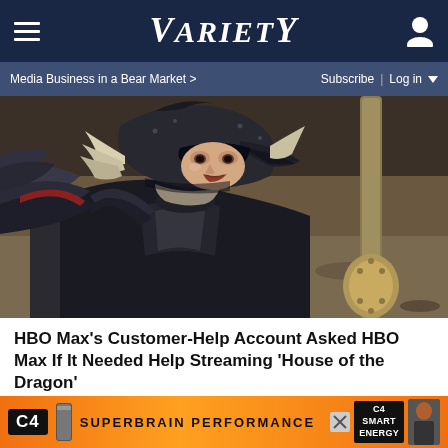Variety
Media Business in a Bear Market >   Subscribe | Log in
[Figure (photo): Actor in dark medieval armor helmet holding a large weapon, close-up portrait from House of the Dragon]
HBO Max's Customer-Help Account Asked HBO Max If It Needed Help Streaming 'House of the Dragon'
Will Smith Video's Crisis PR Lessons
[Figure (photo): Will Smith thumbnail image for related article]
[Figure (photo): C4 Smart Energy advertisement banner - Superbrain Performance]